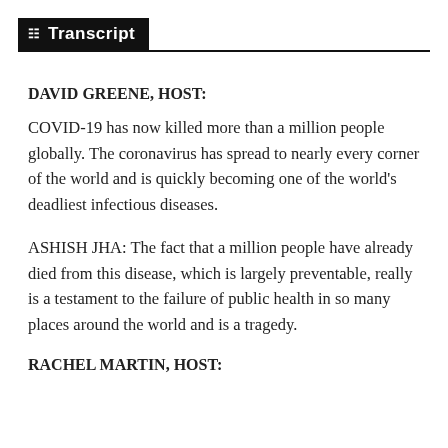Transcript
DAVID GREENE, HOST:
COVID-19 has now killed more than a million people globally. The coronavirus has spread to nearly every corner of the world and is quickly becoming one of the world's deadliest infectious diseases.
ASHISH JHA: The fact that a million people have already died from this disease, which is largely preventable, really is a testament to the failure of public health in so many places around the world and is a tragedy.
RACHEL MARTIN, HOST: